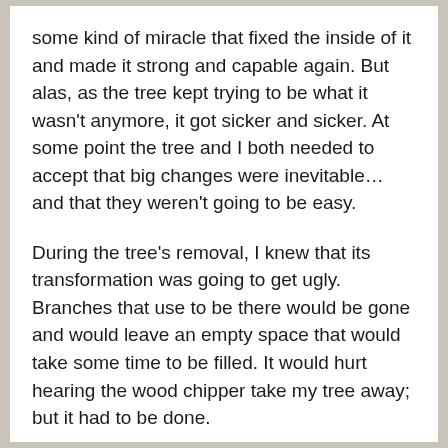some kind of miracle that fixed the inside of it and made it strong and capable again. But alas, as the tree kept trying to be what it wasn't anymore, it got sicker and sicker. At some point the tree and I both needed to accept that big changes were inevitable… and that they weren't going to be easy.
During the tree's removal, I knew that its transformation was going to get ugly. Branches that use to be there would be gone and would leave an empty space that would take some time to be filled. It would hurt hearing the wood chipper take my tree away; but it had to be done.
Next spring a new tree will be planted. One that will grow into a very different tree. In the meantime I will miss seeing my old tree's beauty, and it will take some time for the new tree to feel as capable